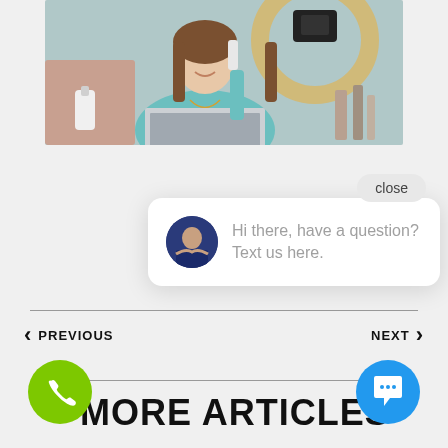[Figure (photo): Woman in teal blazer holding beauty product in front of laptop and ring light with makeup products on desk]
close
Hi there, have a question? Text us here.
PREVIOUS
NEXT
MORE ARTICLES